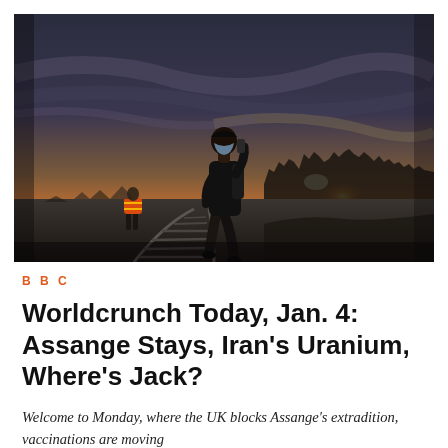[Figure (photo): A person in dark clothing and a face mask walks along railway tracks at dusk/dawn. Another person in an orange high-visibility vest is visible in the background. A sprawling urban landscape and shanty town is visible on the right, with a dramatic orange and grey sunset sky.]
B B C
Worldcrunch Today, Jan. 4: Assange Stays, Iran's Uranium, Where's Jack?
Welcome to Monday, where the UK blocks Assange's extradition, vaccinations are moving...